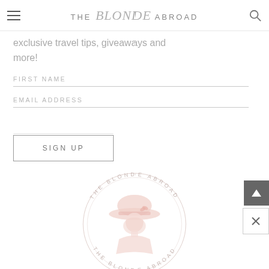THE Blonde ABROAD
exclusive travel tips, giveaways and more!
FIRST NAME
EMAIL ADDRESS
SIGN UP
[Figure (logo): The Blonde Abroad circular logo watermark with script text around the edge and an illustrated blonde woman with a hat in the center, in light pink/rose tones]